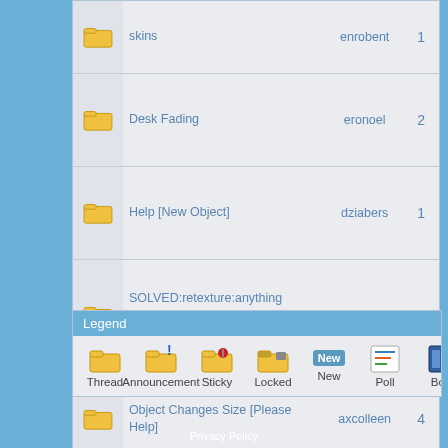|  | Topic | Author | Replies |
| --- | --- | --- | --- |
| [folder] | skins | enrobent | 1 |
| [folder] | Desk Fading | eronoel | 2 |
| [folder] | Help [New Object] | dziabers | 1 |
| [folder] | SOLVED:retexture:anything darker than white goes transparent | runesky | 7 |
| [folder] | Object Changes Size [Please Help] | axcolleen | 4 |
Legend
Thread  Announcement  Sticky  Locked  New  Poll  Boo
Privacy Policy